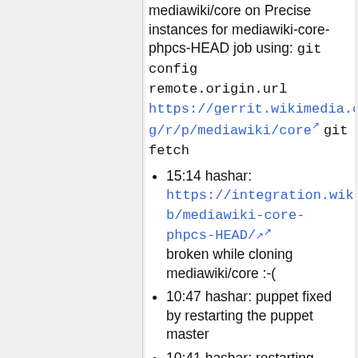mediawiki/core on Precise instances for mediawiki-core-phpcs-HEAD job using: git config remote.origin.url https://gerrit.wikimedia.org/r/p/mediawiki/core git fetch
15:14 hashar: https://integration.wikimedia.org/ci/job/mediawiki-core-phpcs-HEAD/ broken while cloning mediawiki/core :-(
10:47 hashar: puppet fixed by restarting the puppet master
10:41 hashar: restarting Jenkins
10:40 hashar: upgrading Jenkins gearman plugin from 0.1.1-8-gf2024bd to 0.1.1-9-g08e9c42-change_192429_2 https://phabricator.wikimedia.org/T72